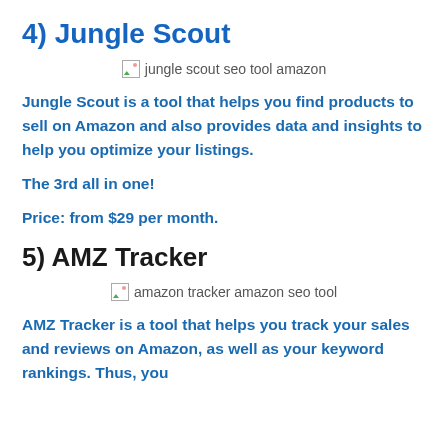4) Jungle Scout
[Figure (illustration): Broken image placeholder with alt text 'jungle scout seo tool amazon']
Jungle Scout is a tool that helps you find products to sell on Amazon and also provides data and insights to help you optimize your listings.
The 3rd all in one!
Price: from $29 per month.
5) AMZ Tracker
[Figure (illustration): Broken image placeholder with alt text 'amazon tracker amazon seo tool']
AMZ Tracker is a tool that helps you track your sales and reviews on Amazon, as well as your keyword rankings. Thus, you